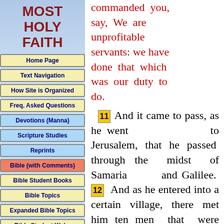MOST HOLY FAITH
Home Page
Text Navigation
How Site is Organized
Freq. Asked Questions
Devotions (Manna)
Scripture Studies
Reprints
Bible (with Comments)
Bible Student Books
Bible Topics
Expanded Bible Topics
Bible Student Webs
Miscellaneous
commanded you, say, We are unprofitable servants: we have done that which was our duty to do. 11 And it came to pass, as he went to Jerusalem, that he passed through the midst of Samaria and Galilee. 12 And as he entered into a certain village, there met him ten men that were lepers, which